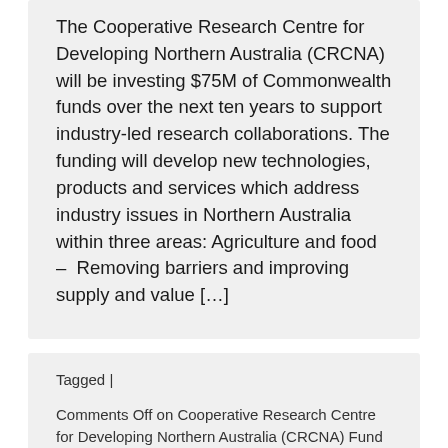The Cooperative Research Centre for Developing Northern Australia (CRCNA) will be investing $75M of Commonwealth funds over the next ten years to support industry-led research collaborations. The funding will develop new technologies, products and services which address industry issues in Northern Australia within three areas: Agriculture and food – Removing barriers and improving supply and value […]
Tagged |
Comments Off on Cooperative Research Centre for Developing Northern Australia (CRCNA) Fund
National Health & Medical Research Council